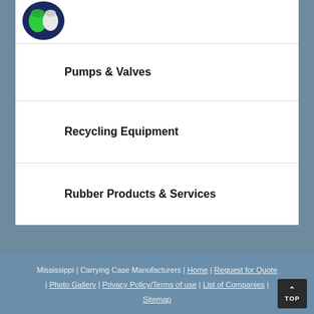[Figure (photo): Small product thumbnail showing green and white containers/caps on a dark blue background]
Pumps & Valves
Recycling Equipment
Rubber Products & Services
Mississippi | Carrying Case Manufacturers | Home | Request for Quote | Photo Gallery | Privacy Policy/Terms of use | List of Companies | Sitemap